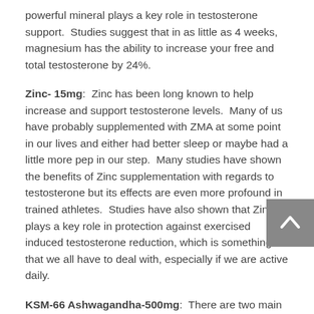powerful mineral plays a key role in testosterone support.  Studies suggest that in as little as 4 weeks, magnesium has the ability to increase your free and total testosterone by 24%.
Zinc- 15mg:  Zinc has been long known to help increase and support testosterone levels.  Many of us have probably supplemented with ZMA at some point in our lives and either had better sleep or maybe had a little more pep in our step.  Many studies have shown the benefits of Zinc supplementation with regards to testosterone but its effects are even more profound in trained athletes.  Studies have also shown that Zinc plays a key role in protection against exercised induced testosterone reduction, which is something that we all have to deal with, especially if we are active daily.
KSM-66 Ashwagandha-500mg:  There are two main